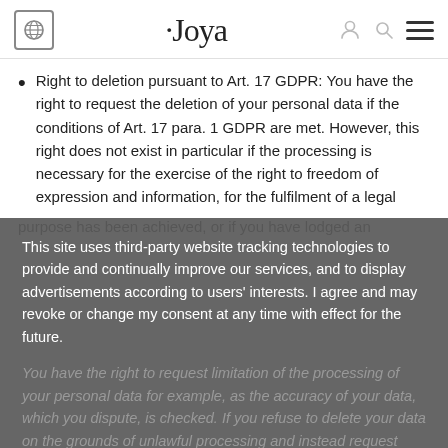Joya
Right to deletion pursuant to Art. 17 GDPR: You have the right to request the deletion of your personal data if the conditions of Art. 17 para. 1 GDPR are met. However, this right does not exist in particular if the processing is necessary for the exercise of the right to freedom of expression and information, for the fulfilment of a legal obligation, for reasons of public interest, or for the purpose of asserting, exercising or defending legal claims.
This site uses third-party website tracking technologies to provide and continually improve our services, and to display advertisements according to users' interests. I agree and may revoke or change my consent at any time with effect for the future.
Accept
Deny
more
Powered by usercentrics & PRIVE
You have the right to request limitation of the processing of your personal data for example, as the accuracy of your data, which you dispute, is checked. If you refuse to delete your data on the grounds of unlawful processing and instead request limitation of the processing of your data, if you need your data to assert, exercise or defend legal claims, after we no longer need these data once the purpose has been achieved, or if you have lodged an